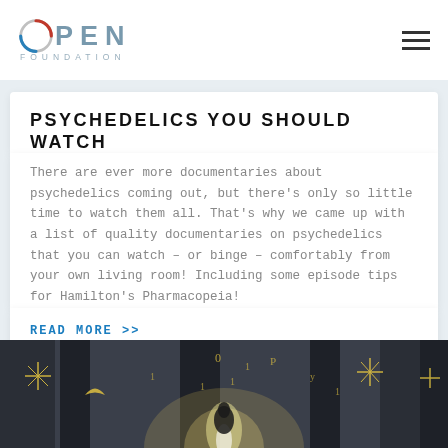OPEN FOUNDATION
PSYCHEDELICS YOU SHOULD WATCH
There are ever more documentaries about psychedelics coming out, but there's only so little time to watch them all. That's why we came up with a list of quality documentaries on psychedelics that you can watch – or binge – comfortably from your own living room! Including some episode tips for Hamilton's Pharmacopeia!
READ MORE >>
[Figure (photo): Dark atmospheric image with glowing golden light and celestial/mystical symbols including stars, crescent moon, and other symbols, with a bird or figure visible in the center]